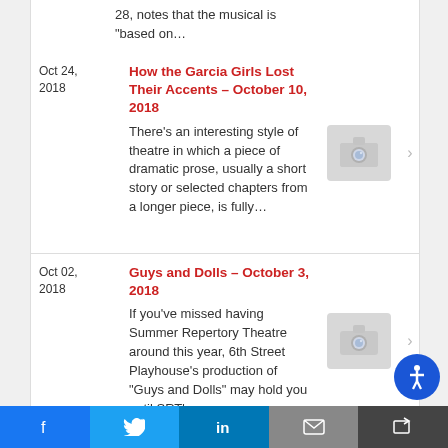28, notes that the musical is "based on...
Oct 24, 2018 — How the Garcia Girls Lost Their Accents – October 10, 2018. There's an interesting style of theatre in which a piece of dramatic prose, usually a short story or selected chapters from a longer piece, is fully...
Oct 02, 2018 — Guys and Dolls – October 3, 2018. If you've missed having Summer Repertory Theatre around this year, 6th Street Playhouse's production of "Guys and Dolls" may hold you until SRT's...
Sep 25, 2018 — Church & State, Time Stands Still – September 26...